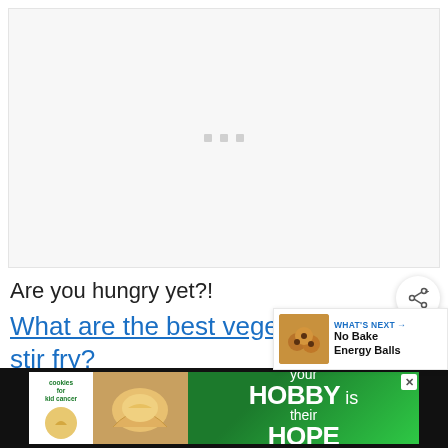[Figure (other): Advertisement placeholder area with three small gray dots/squares in the center on a light gray background]
Are you hungry yet?!
What are the best vegetables for stir fry?
[Figure (other): What's Next panel showing No Bake Energy Balls with thumbnail image of round cookie balls]
[Figure (other): Advertisement banner: cookies for kid cancer - your HOBBY is their HOPE, with close button X]
H... a stir fry?